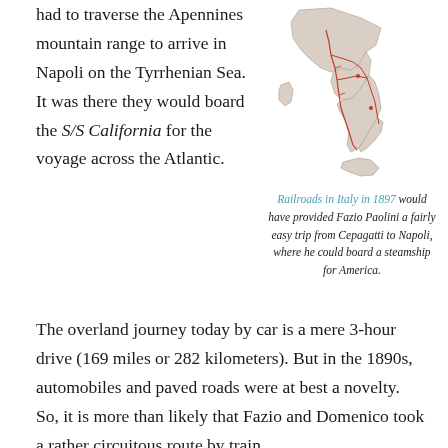had to traverse the Apennines mountain range to arrive in Napoli on the Tyrrhenian Sea. It was there they would board the S/S California for the voyage across the Atlantic.
[Figure (map): Map of Italy in 1897 showing railroad routes, with red lines indicating rail connections from Cepagatti area south to Napoli.]
Railroads in Italy in 1897 would have provided Fazio Paolini a fairly easy trip from Cepagatti to Napoli, where he could board a steamship for America.
The overland journey today by car is a mere 3-hour drive (169 miles or 282 kilometers). But in the 1890s, automobiles and paved roads were at best a novelty. So, it is more than likely that Fazio and Domenico took a rather circuitous route by train.